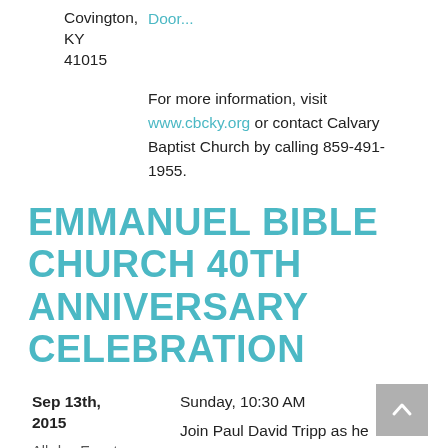Covington, KY
41015
Door...
For more information, visit www.cbcky.org or contact Calvary Baptist Church by calling 859-491-1955.
EMMANUEL BIBLE CHURCH 40TH ANNIVERSARY CELEBRATION
Sep 13th, 2015
Sunday, 10:30 AM
All-day Event
Emmanuel
Join Paul David Tripp as he preaches at Emmanuel Bible